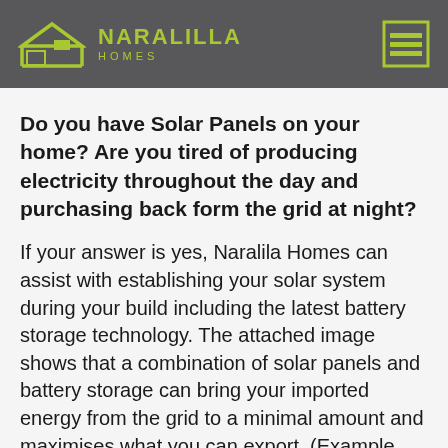NARALILLA HOMES
Do you have Solar Panels on your home? Are you tired of producing electricity throughout the day and purchasing back form the grid at night?
If your answer is yes, Naralila Homes can assist with establishing your solar system during your build including the latest battery storage technology. The attached image shows that a combination of solar panels and battery storage can bring your imported energy from the grid to a minimal amount and maximises what you can export. (Example based upon a 3.4kw system) The high-performance energy storage solution brings you more intelligence and